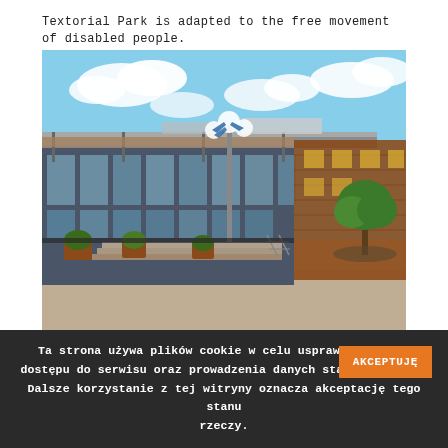Textorial Park is adapted to the free movement of disabled people.
[Figure (photo): Exterior photo of Textorial Park building: a modern glass and steel structure with an overhanging roof canopy, connected to a red brick building on the right. A tall lamp post with white globe lights and blue accents stands in the foreground. Potted plants and steps are visible, with a paved courtyard area.]
Ta strona używa plików cookie w celu usprawnienia i ograniczenia dostępu do serwisu oraz prowadzenia danych statystycznych. Dalsze korzystanie z tej witryny oznacza akceptację tego stanu rzeczy.